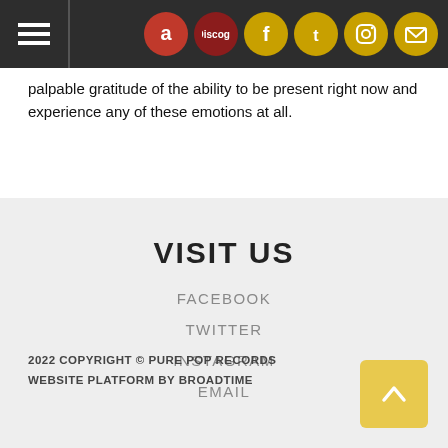Navigation bar with hamburger menu and social/store icons: Amazon, Discogs, Facebook, Twitter, Instagram, Email
palpable gratitude of the ability to be present right now and experience any of these emotions at all.
VISIT US
FACEBOOK
TWITTER
INSTAGRAM
EMAIL
2022 COPYRIGHT © PURE POP RECORDS
WEBSITE PLATFORM BY BROADTIME